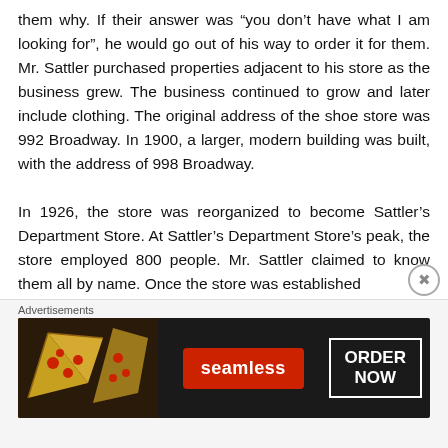them why. If their answer was “you don’t have what I am looking for”, he would go out of his way to order it for them. Mr. Sattler purchased properties adjacent to his store as the business grew. The business continued to grow and later include clothing. The original address of the shoe store was 992 Broadway. In 1900, a larger, modern building was built, with the address of 998 Broadway.

In 1926, the store was reorganized to become Sattler’s Department Store. At Sattler’s Department Store’s peak, the store employed 800 people. Mr. Sattler claimed to know them all by name. Once the store was established
Advertisements
[Figure (other): Seamless food ordering advertisement banner showing pizza slices on the left, a red Seamless logo in the center, and an 'ORDER NOW' button on the right, set against a dark background.]